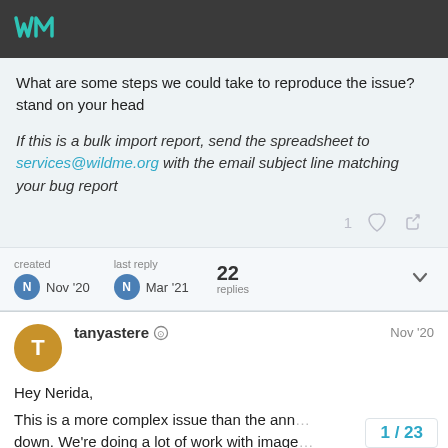Wild Me community forum header with logo
What are some steps we could take to reproduce the issue?
stand on your head
If this is a bulk import report, send the spreadsheet to services@wildme.org with the email subject line matching your bug report
created Nov '20  last reply Mar '21  22 replies
tanyastere  Nov '20
Hey Nerida,
This is a more complex issue than the ann… down. We're doing a lot of work with image…
1 / 23